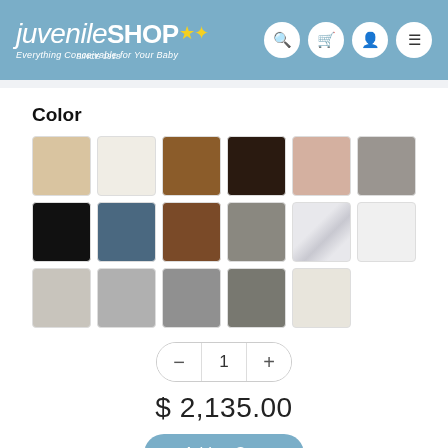[Figure (logo): Juvenile Shop logo with text 'juvenile SHOP' in white on blue background, tagline 'Everything Conceivable for Your Baby', 'SINCE 1918', and four navigation icons (search, cart, user, menu) on the right]
Color
[Figure (infographic): Grid of 17 color swatches in 3 rows showing various wood and finish colors: row 1: light birch, white/cream, medium brown, dark espresso, blush/mauve, gray; row 2: black, navy/slate blue, walnut brown, gray-brown, marble white, white; row 3: light gray, medium gray, dark gray, charcoal, off-white]
1
$ 2,135.00
Add to Cart
Add to Registry